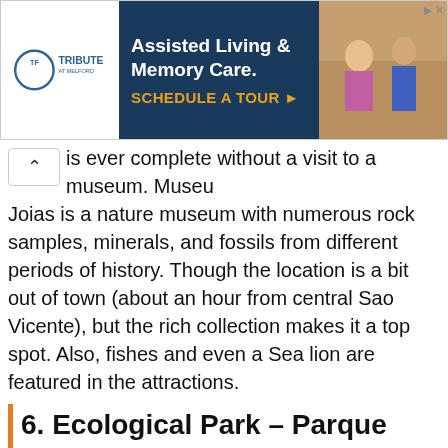[Figure (screenshot): Advertisement banner for Tribute at Melford Assisted Living & Memory Care with 'SCHEDULE A TOUR' call to action]
is ever complete without a visit to a museum. Museu Joias is a nature museum with numerous rock samples, minerals, and fossils from different periods of history. Though the location is a bit out of town (about an hour from central Sao Vicente), but the rich collection makes it a top spot. Also, fishes and even a Sea lion are featured in the attractions.
6. Ecological Park – Parque Ecologico Voturua
[Figure (screenshot): Facebook embedded post box with message: This Facebook post is no longer available. It may have been removed or the privacy settings of the post may have changed.]